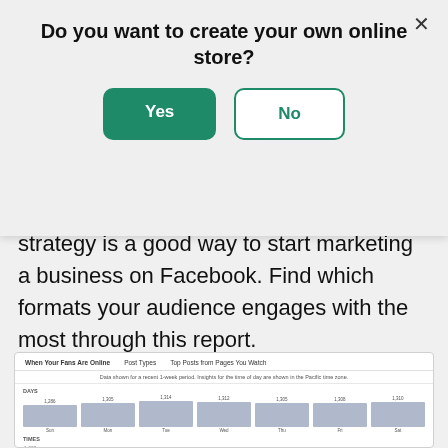Do you want to create your own online store?
mentioned that varying your content strategy is a good way to start marketing a business on Facebook. Find which formats your audience engages with the most through this report.
[Figure (screenshot): Facebook Insights screenshot showing 'When Your Fans Are Online' tab with bar chart of daily fan counts (Sun: 1,286, Mon: 1,305, Tue: 1,314, Wed: 1,312, Thu: 1,305, Fri: 1,308, Sat: 1,310) and a times-of-day line chart partially visible at bottom.]